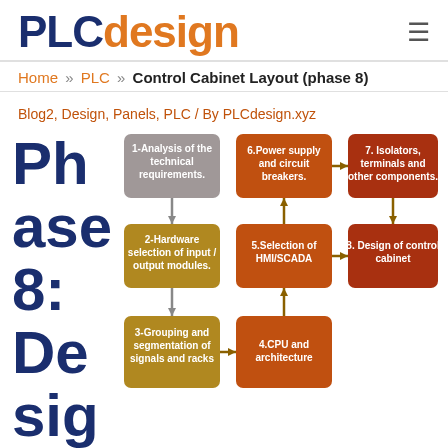PLCdesign
Home » PLC » Control Cabinet Layout (phase 8)
Blog2, Design, Panels, PLC / By PLCdesign.xyz
Phase 8: Design
[Figure (flowchart): Flowchart showing 8 phases of control cabinet design. Boxes: 1-Analysis of the technical requirements (gray, top-left), 2-Hardware selection of input/output modules (gold, middle-left), 3-Grouping and segmentation of signals and racks (gold, bottom-left), 4.CPU and architecture (brown-orange, bottom-center), 5.Selection of HMI/SCADA (brown-orange, middle-center), 6.Power supply and circuit breakers (brown-orange, top-center), 7. Isolators, terminals and other components (dark orange, top-right), 8. Design of control cabinet (dark orange, middle-right). Connected with arrows in sequence.]